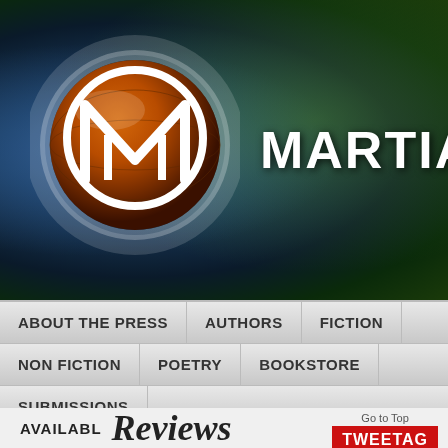[Figure (logo): Martian Press website header with orange/brown spherical logo featuring white M-shaped design, and the text MARTIAN on a dark blue-green gradient background]
ABOUT THE PRESS
AUTHORS
FICTION
NON FICTION
POETRY
BOOKSTORE
SUBMISSIONS
AVAILABL
Reviews
Go to Top
TWEETAG